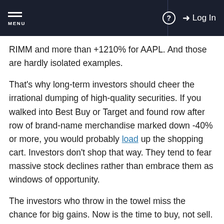MENU | ? | Log In
RIMM and more than +1210% for AAPL. And those are hardly isolated examples.
That’s why long-term investors should cheer the irrational dumping of high-quality securities. If you walked into Best Buy or Target and found row after row of brand-name merchandise marked down -40% or more, you would probably load up the shopping cart. Investors don’t shop that way. They tend to fear massive stock declines rather than embrace them as windows of opportunity.
The investors who throw in the towel miss the chance for big gains. Now is the time to buy, not sell.
The First Signal: Low P/E Ratios